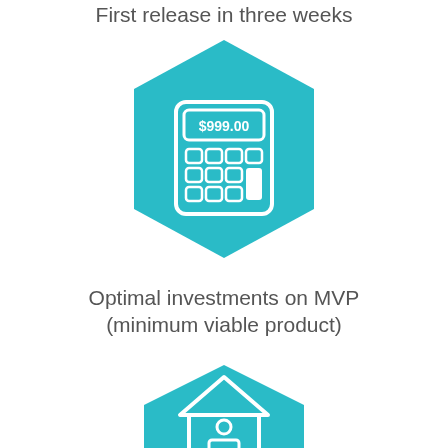First release in three weeks
[Figure (illustration): Teal hexagon containing a white calculator icon showing $999.00 on its display]
Optimal investments on MVP
(minimum viable product)
[Figure (illustration): Teal hexagon partially visible at bottom containing a white house/home icon]